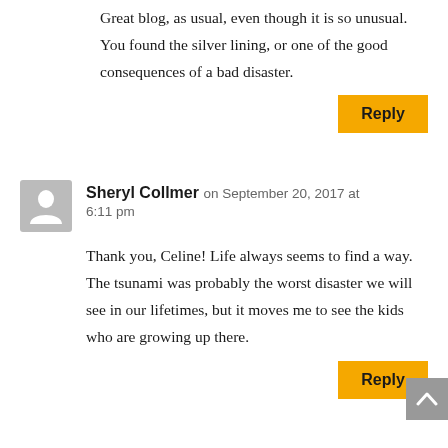Great blog, as usual, even though it is so unusual. You found the silver lining, or one of the good consequences of a bad disaster.
Reply
Sheryl Collmer on September 20, 2017 at 6:11 pm
Thank you, Celine! Life always seems to find a way. The tsunami was probably the worst disaster we will see in our lifetimes, but it moves me to see the kids who are growing up there.
Reply